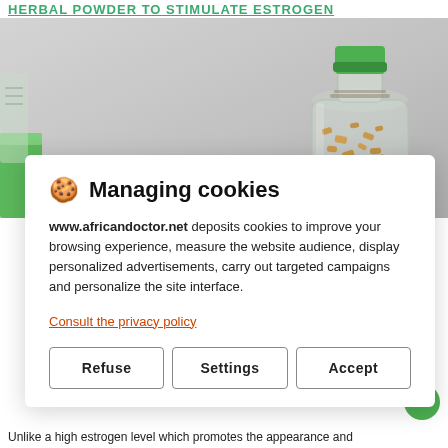HERBAL POWDER TO STIMULATE ESTROGEN
[Figure (photo): A photo of a glass bottle with a green cap containing small golden/tan herbal pieces, set against a light gray background. A green container is partially visible on the left side.]
🍪 Managing cookies
www.africandoctor.net deposits cookies to improve your browsing experience, measure the website audience, display personalized advertisements, carry out targeted campaigns and personalize the site interface.
Consult the privacy policy
Refuse   Settings   Accept
Unlike a high estrogen level which promotes the appearance and